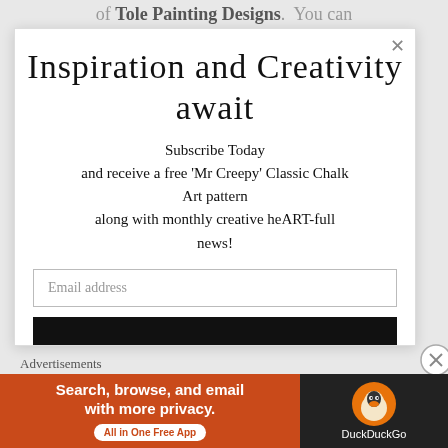of Tole Painting Designs. You can
Inspiration and Creativity await
Subscribe Today and receive a free 'Mr Creepy' Classic Chalk Art pattern along with monthly creative heART-full news!
Email address
[Figure (other): Black bar (submit button area)]
Advertisements
[Figure (other): DuckDuckGo advertisement banner: 'Search, browse, and email with more privacy. All in One Free App' with DuckDuckGo logo]